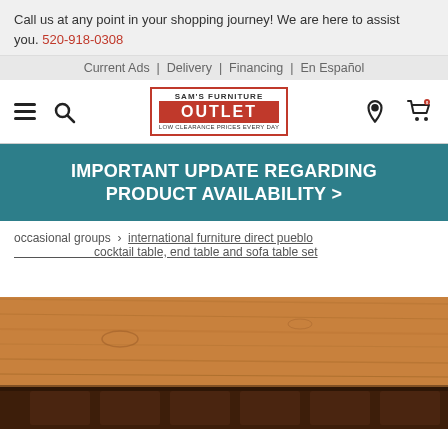Call us at any point in your shopping journey! We are here to assist you. 520-918-0308
Current Ads | Delivery | Financing | En Español
[Figure (logo): Sam's Furniture Outlet logo — red bordered box with 'SAM'S FURNITURE' on top, red background 'OUTLET' block, and 'LOW CLEARANCE PRICES EVERY DAY' below]
IMPORTANT UPDATE REGARDING PRODUCT AVAILABILITY >
occasional groups > international furniture direct pueblo cocktail table, end table and sofa table set
[Figure (photo): Close-up photo of a rustic wooden furniture piece (cocktail/coffee table top) with warm brown wood grain and dark base visible at the bottom]